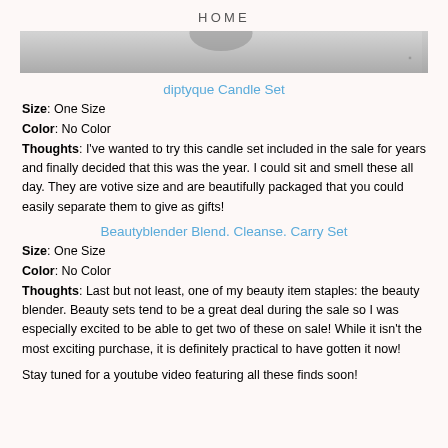HOME
[Figure (photo): Bottom portion of a product photo, gray background]
diptyque Candle Set
Size: One Size
Color: No Color
Thoughts: I've wanted to try this candle set included in the sale for years and finally decided that this was the year. I could sit and smell these all day. They are votive size and are beautifully packaged that you could easily separate them to give as gifts!
Beautyblender Blend. Cleanse. Carry Set
Size: One Size
Color: No Color
Thoughts: Last but not least, one of my beauty item staples: the beauty blender. Beauty sets tend to be a great deal during the sale so I was especially excited to be able to get two of these on sale! While it isn't the most exciting purchase, it is definitely practical to have gotten it now!
Stay tuned for a youtube video featuring all these finds soon!